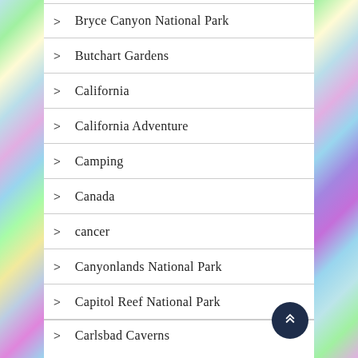Bryce Canyon National Park
Butchart Gardens
California
California Adventure
Camping
Canada
cancer
Canyonlands National Park
Capitol Reef National Park
Carlsbad Caverns